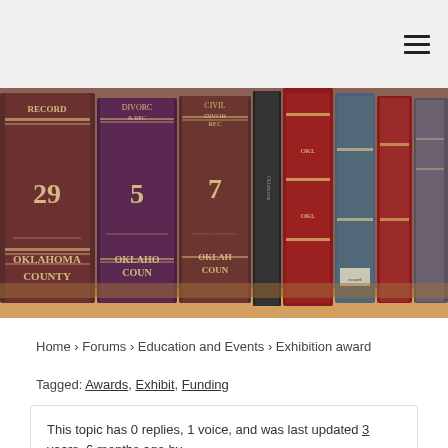≡ (hamburger menu icon)
[Figure (photo): A row of old leather-bound legal record books on a shelf, spines labeled 'Oklahoma County', 'Civil Divorce Records', numbered volumes 29, 5, 7]
Home › Forums › Education and Events › Exhibition award
Tagged: Awards, Exhibit, Funding
This topic has 0 replies, 1 voice, and was last updated 3 years, 6 months ago by Lisa Henry.